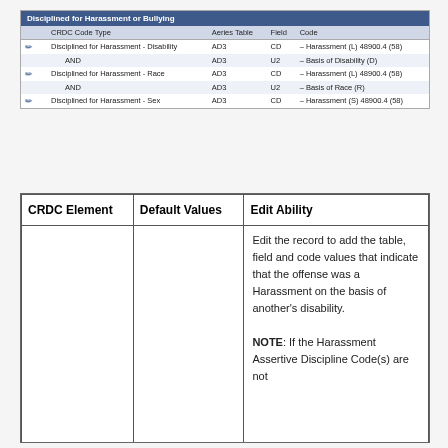|  | CRDC Code Type | Aeries Table | Field | Code |
| --- | --- | --- | --- | --- |
| ✏ | Disciplined for Harassment - Disability | AD3 | CD | – Harassment (L) 48900.4 (58) |
|  | AND | AD3 | U2 | – Basis of Disability (D) |
| ✏ | Disciplined for Harassment - Race | AD3 | CD | – Harassment (L) 48900.4 (58) |
|  | AND | AD3 | U2 | – Basis of Race (R) |
| ✏ | Disciplined for Harassment - Sex | AD3 | CD | – Harassment (S) 48900.4 (58) |
| CRDC Element | Default Values | Edit Ability |
| --- | --- | --- |
|  |  | Edit the record to add the table, field and code values that indicate that the offense was a Harassment on the basis of another's disability.

NOTE: If the Harassment Assertive Discipline Code(s) are not |